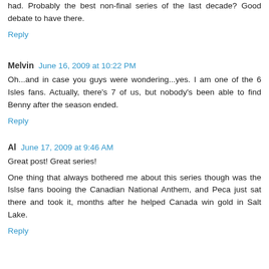had. Probably the best non-final series of the last decade? Good debate to have there.
Reply
Melvin  June 16, 2009 at 10:22 PM
Oh...and in case you guys were wondering...yes. I am one of the 6 Isles fans. Actually, there's 7 of us, but nobody's been able to find Benny after the season ended.
Reply
Al  June 17, 2009 at 9:46 AM
Great post! Great series!
One thing that always bothered me about this series though was the Islse fans booing the Canadian National Anthem, and Peca just sat there and took it, months after he helped Canada win gold in Salt Lake.
Reply